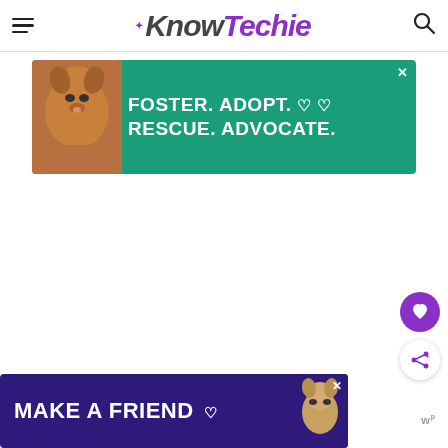KnowTechie
[Figure (infographic): Advertisement banner: green background with dog image, text FOSTER. ADOPT. RESCUE. ADVOCATE. with heart icons]
[Figure (infographic): Purple circular button with heart icon (save/like)]
[Figure (infographic): White circular button with share icon]
[Figure (infographic): Advertisement banner at bottom: dark purple background with dog image and text MAKE A FRIEND]